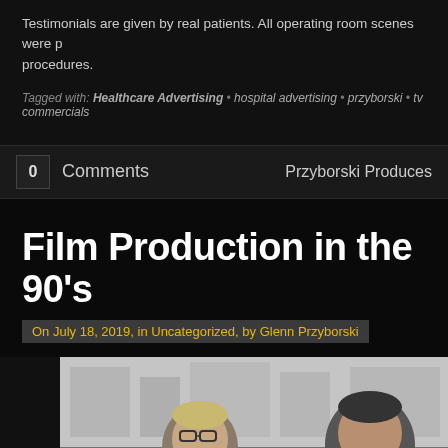Testimonials are given by real patients. All operating room scenes were p procedures.
Tagged with: Healthcare Advertising • hospital advertising • przyborski • tv commercials
0  Comments   Przyborski Produces
Film Production in the 90's
On July 18, 2019, in Uncategorized, by Glenn Przyborski
[Figure (photo): Two people outdoors, one with glasses and one partially visible, with filming equipment. Blurry urban background.]